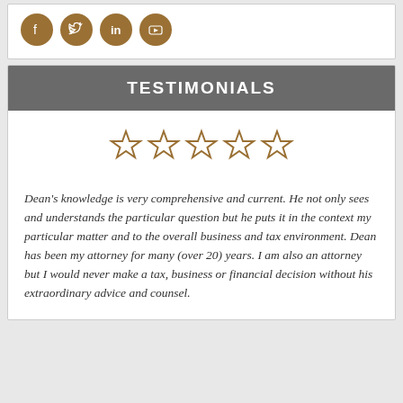[Figure (illustration): Four social media icon circles (Facebook, Twitter, LinkedIn, YouTube) in brown/gold color on white background]
TESTIMONIALS
[Figure (other): Five outlined star icons in brown/gold color representing a 5-star rating]
Dean's knowledge is very comprehensive and current. He not only sees and understands the particular question but he puts it in the context my particular matter and to the overall business and tax environment. Dean has been my attorney for many (over 20) years. I am also an attorney but I would never make a tax, business or financial decision without his extraordinary advice and counsel.